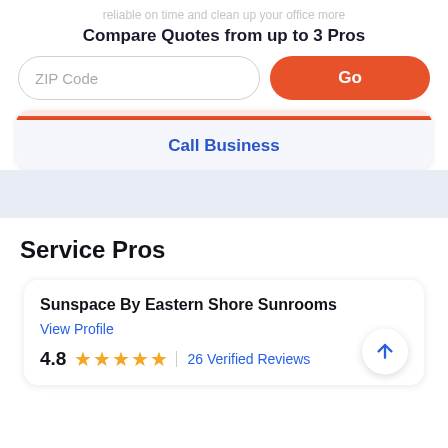reliable on time and clean up your office more
Compare Quotes from up to 3 Pros
ZIP Code | Go
Call Business
Service Pros
Sunspace By Eastern Shore Sunrooms
View Profile
4.8  ★★★★★  26 Verified Reviews